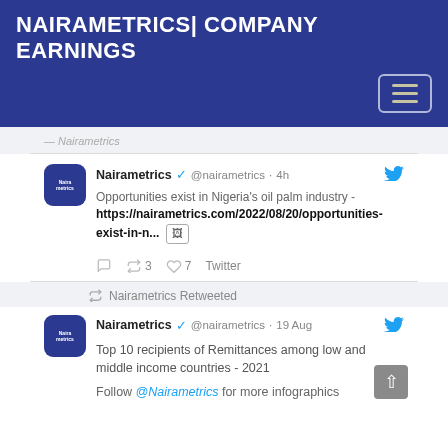NAIRAMETRICS| COMPANY EARNINGS
Nairametrics @nairametrics · 4h — Opportunities exist in Nigeria's oil palm industry - https://nairametrics.com/2022/08/20/opportunities-exist-in-n... [image] — Retweet 3 Like 7 Twitter
Nairametrics Retweeted — Nairametrics @nairametrics · 19 Aug — Top 10 recipients of Remittances among low and middle income countries - 2021 — Follow @Nairametrics for more infographics